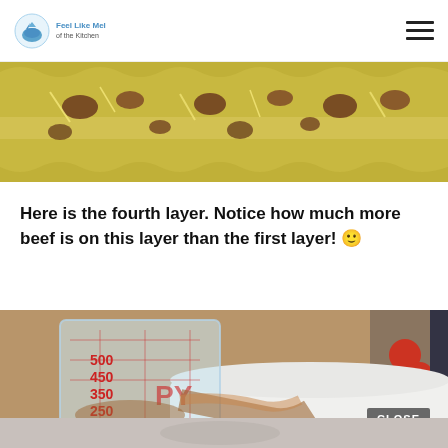Logo and navigation header
[Figure (photo): Close-up photo of lasagna layer with pasta sheet, white sauce, and ground beef scattered on top]
Here is the fourth layer. Notice how much more beef is on this layer than the first layer! 🙂
[Figure (photo): Pyrex measuring cup pouring liquid into a white casserole dish, with tomatoes and other ingredients visible in the background. A CLOSE button overlay is visible.]